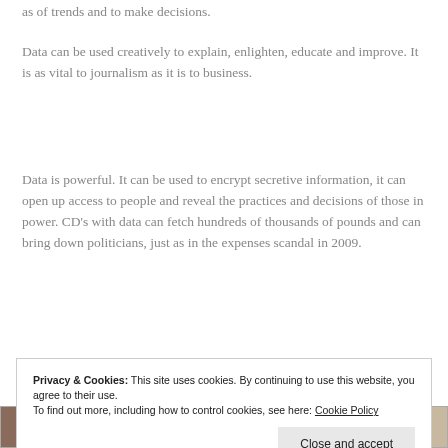as of trends and to make decisions.
Data can be used creatively to explain, enlighten, educate and improve. It is as vital to journalism as it is to business.
Data is powerful. It can be used to encrypt secretive information, it can open up access to people and reveal the practices and decisions of those in power. CD’s with data can fetch hundreds of thousands of pounds and can bring down politicians, just as in the expenses scandal in 2009.
Privacy & Cookies: This site uses cookies. By continuing to use this website, you agree to their use.
To find out more, including how to control cookies, see here: Cookie Policy
[Figure (photo): Strip of thumbnail images at the bottom of the page]